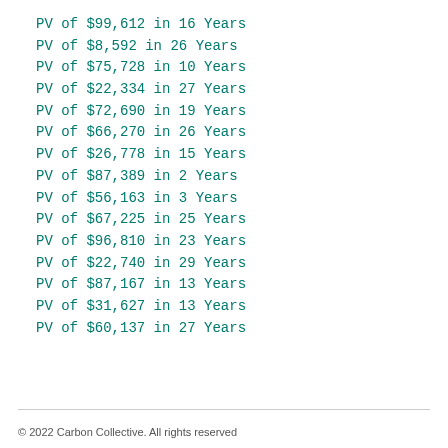PV of $99,612 in 16 Years
PV of $8,592 in 26 Years
PV of $75,728 in 10 Years
PV of $22,334 in 27 Years
PV of $72,690 in 19 Years
PV of $66,270 in 26 Years
PV of $26,778 in 15 Years
PV of $87,389 in 2 Years
PV of $56,163 in 3 Years
PV of $67,225 in 25 Years
PV of $96,810 in 23 Years
PV of $22,740 in 29 Years
PV of $87,167 in 13 Years
PV of $31,627 in 13 Years
PV of $60,137 in 27 Years
© 2022 Carbon Collective. All rights reserved